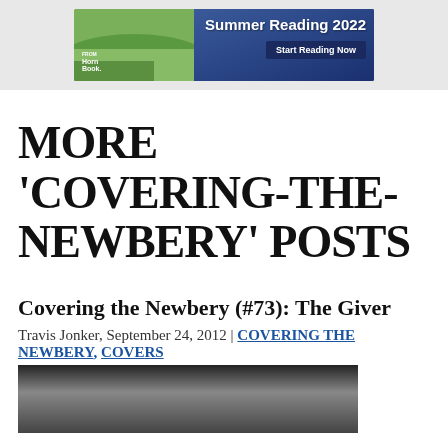[Figure (illustration): Summer Reading 2022 banner from The Horn Book with 'Start Reading Now' button, landscape background with green hills]
MORE 'COVERING-THE-NEWBERY' POSTS
Covering the Newbery (#73): The Giver
Travis Jonker, September 24, 2012 | COVERING THE NEWBERY, COVERS
[Figure (photo): Black and white photograph, partially visible at bottom of page]